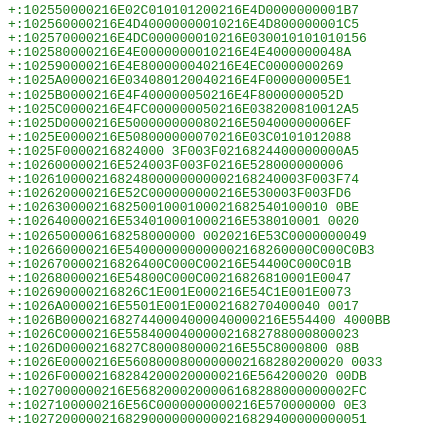+:102550000216E02C010101200216E4D0000000001B7
+:102560000216E4D40000000010216E4D800000001C5
+:102570000216E4DC000000010216E030010101010156
+:102580000216E4E000000010216E4E4000000048A
+:102590000216E4E800000040216E4EC0000000269
+:1025A0000216E034080120040216E4F000000005E1
+:1025B0000216E4F400000050216E4F8000000052D
+:1025C0000216E4FC000000050216E038200810012A5
+:1025D0000216E5000000000080216E50400000006EF
+:1025E0000216E508000000070216E03C0101012088
+:1025F0000216824000 3F003F0216824400000000A5
+:102600000216E524003F003F0216E528000000006
+:102610000216824800000000002168240003F003F74
+:102620000216E52C000000000216E53003F003FD6
+:102630000216825001000100021682540100010 0BE
+:102640000216E534010001000216E538010001 0020
+:1026500006168258000000 0020216E53C0000000049
+:102660000216E54000000000002168260000C000C0B3
+:102670000216826400C000C00216E54400C000C01B
+:102680000216E54800C000C00216826810001E0047
+:102690000216826C1E001E000216E54C1E001E0073
+:1026A0000216E5501E001E0002168270400040 0017
+:1026B0000216827440004000040000216E554400 4000BB
+:1026C0000216E558400040000021682788000800023
+:1026D0000216827C800080000216E55C8000800 08B
+:1026E0000216E56080008000021682802000200033
+:1026F000021682842000200000216E564200020 00DB
+:1027000000216E568200020000 6168288000000002FC
+:1027100000216E56C0000000000216E5700000000 0E3
+:102720000216829000000000002168294000000000 51